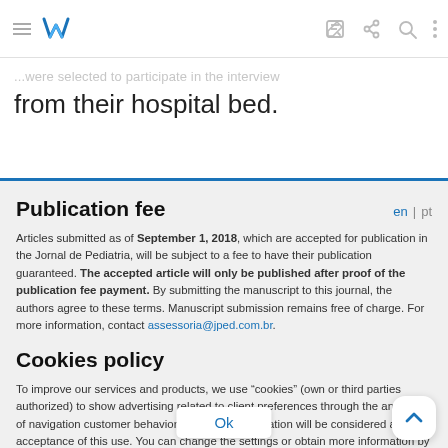Navigation bar with menu, logo, edit, share, search, and more icons
...were selected to participate in the interview from their hospital bed.
Publication fee
Articles submitted as of September 1, 2018, which are accepted for publication in the Jornal de Pediatria, will be subject to a fee to have their publication guaranteed. The accepted article will only be published after proof of the publication fee payment. By submitting the manuscript to this journal, the authors agree to these terms. Manuscript submission remains free of charge. For more information, contact assessoria@jped.com.br.
Cookies policy
To improve our services and products, we use "cookies" (own or third parties authorized) to show advertising related to client preferences through the analyses of navigation customer behavior. Continuing navigation will be considered as acceptance of this use. You can change the settings or obtain more information by clicking here.